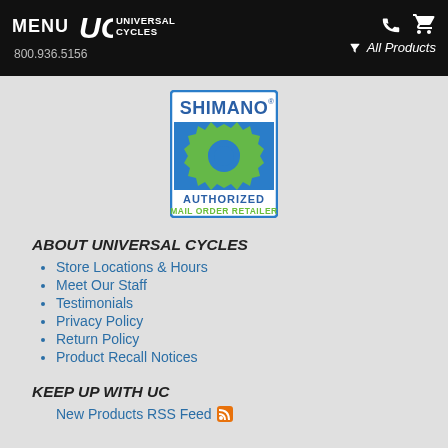MENU UC UNIVERSAL CYCLES 800.936.5156 All Products
[Figure (logo): Shimano Authorized Mail Order Retailer badge with blue background, green gear icon, and text AUTHORIZED MAIL ORDER RETAILER]
ABOUT UNIVERSAL CYCLES
Store Locations & Hours
Meet Our Staff
Testimonials
Privacy Policy
Return Policy
Product Recall Notices
KEEP UP WITH UC
New Products RSS Feed